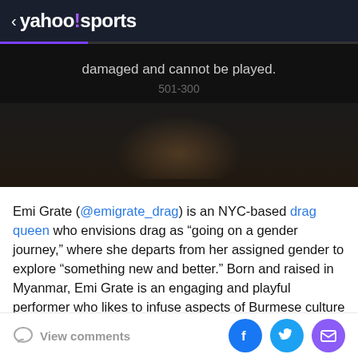< yahoo!sports
[Figure (screenshot): Dark video player area showing error message 'damaged and cannot be played.' with error code '501-300' and a blurred background image]
Emi Grate (@emigrate_drag) is an NYC-based drag queen who envisions drag as “going on a gender journey,” where she departs from her assigned gender to explore “something new and better.” Born and raised in Myanmar, Emi Grate is an engaging and playful performer who likes to infuse aspects of Burmese culture into her drag while also tackling subjects related to race, religion, heritage, and migration, among others. Heavily influenced by her
View comments